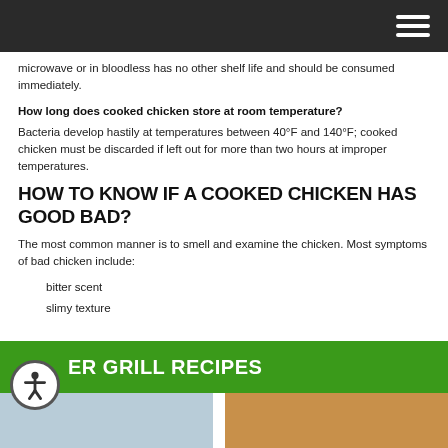Navigation menu
microwave or in bloodless has no other shelf life and should be consumed immediately.
How long does cooked chicken store at room temperature?
Bacteria develop hastily at temperatures between 40°F and 140°F; cooked chicken must be discarded if left out for more than two hours at improper temperatures.
HOW TO KNOW IF A COOKED CHICKEN HAS GOOD BAD?
The most common manner is to smell and examine the chicken. Most symptoms of bad chicken include:
bitter scent
slimy texture
ER GRILL RECIPES
[Figure (photo): Two food photos at the bottom of the page]